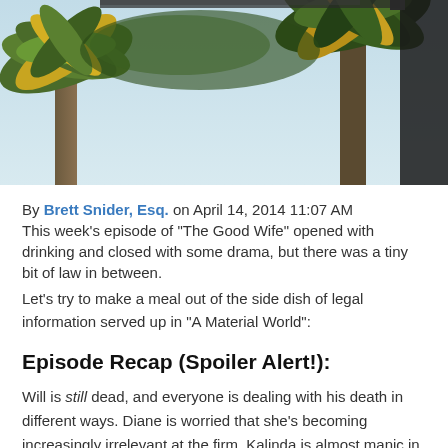[Figure (photo): Outdoor photo showing palm trees with green and golden fronds against a light blue sky, with a dark sign or structure partially visible on the right edge. Image is cropped to show mostly the upper tree canopy.]
By Brett Snider, Esq. on April 14, 2014 11:07 AM This week's episode of "The Good Wife" opened with drinking and closed with some drama, but there was a tiny bit of law in between.
Let's try to make a meal out of the side dish of legal information served up in "A Material World":
Episode Recap (Spoiler Alert!):
Will is still dead, and everyone is dealing with his death in different ways. Diane is worried that she's becoming increasingly irrelevant at the firm. Kalinda is almost manic in her investigation-fueled one-night stands. And Alicia is a